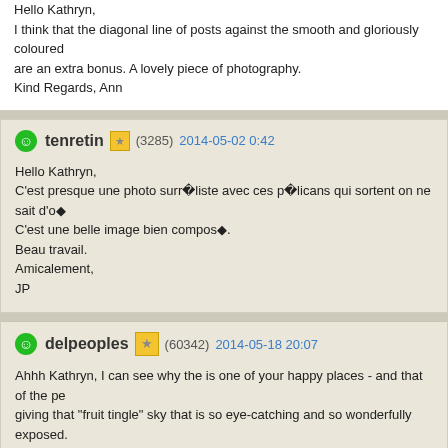Hello Kathryn,
I think that the diagonal line of posts against the smooth and gloriously coloured are an extra bonus. A lovely piece of photography.
Kind Regards, Ann
tenretin (3285) 2014-05-02 0:42
Hello Kathryn,
C'est presque une photo surréaliste avec ces pélicans qui sortent on ne sait d'où.
C'est une belle image bien composée.
Beau travail.
Amicalement,
JP
delpeoples (60342) 2014-05-18 20:07
Ahhh Kathryn, I can see why the is one of your happy places - and that of the pe giving that "fruit tingle" sky that is so eye-catching and so wonderfully exposed. completely out, this would be a magnificent photo, with the pelicans, the reflected poles. With it, it's a breath-taking photo. Well done, and I wish you a happy wee

Hope you've recovered from the Lurgy
Lisa